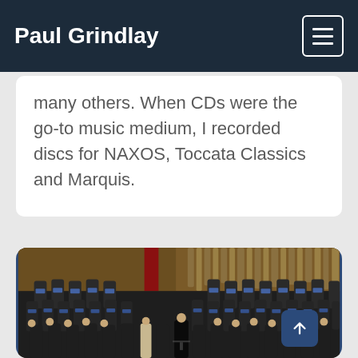Paul Grindlay
many others. When CDs were the go-to music medium, I recorded discs for NAXOS, Toccata Classics and Marquis.
[Figure (photo): A large choir group posed on a concert hall stage, wearing dark formal attire with blue accents, in front of wooden organ pipes and a grand piano.]